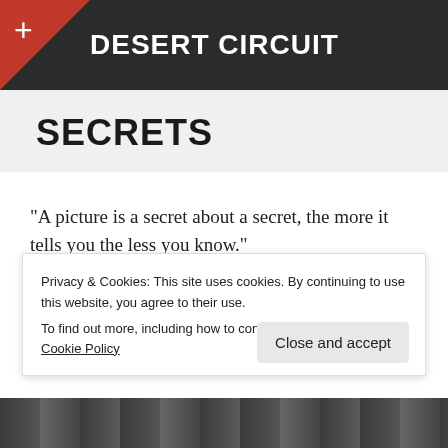DESERT CIRCUIT
SECRETS
“A picture is a secret about a secret, the more it tells you the less you know.” — Diane Arbus
Privacy & Cookies: This site uses cookies. By continuing to use this website, you agree to their use. To find out more, including how to control cookies, see here: Cookie Policy
[Figure (photo): Black and white photo strip at bottom of page]